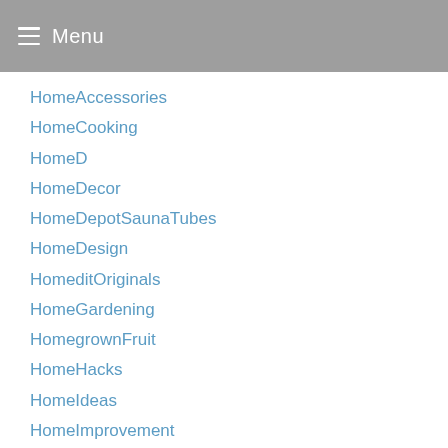Menu
HomeAccessories
HomeCooking
HomeD
HomeDecor
HomeDepotSaunaTubes
HomeDesign
HomeditOriginals
HomeGardening
HomegrownFruit
HomeHacks
HomeIdeas
HomeImprovement
HomeInterior
Homekeeping
HomemadeFrontYardDeocr
HomeOfTheRishels